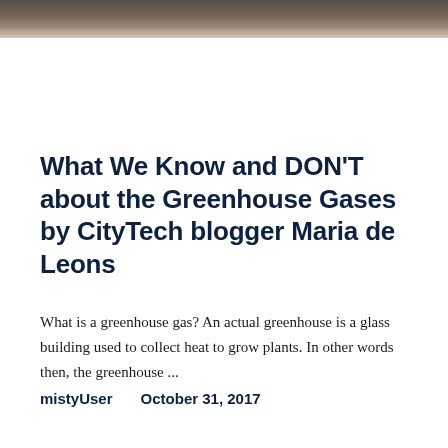[Figure (photo): Dark textured background image strip at top of page, appearing to show a natural or earthy surface in dark brown tones.]
What We Know and DON'T about the Greenhouse Gases by CityTech blogger Maria de Leons
What is a greenhouse gas?  An actual greenhouse is a glass building used to collect heat to grow plants. In other words then, the greenhouse ...
mistyUser    October 31, 2017